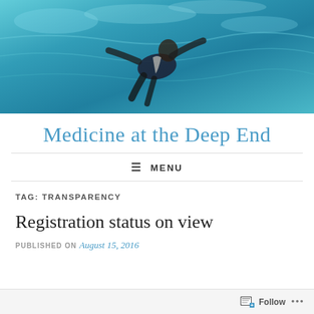[Figure (photo): Underwater photo of a person in a dark suit swimming or floating beneath a pool/water surface with blue-green water and light reflections]
Medicine at the Deep End
≡ MENU
TAG: TRANSPARENCY
Registration status on view
PUBLISHED ON August 15, 2016
Follow ...